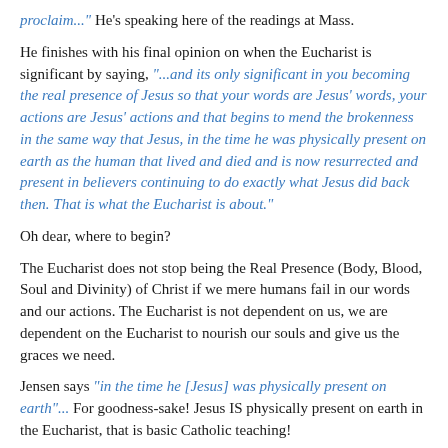proclaim..." He's speaking here of the readings at Mass.
He finishes with his final opinion on when the Eucharist is significant by saying, "...and its only significant in you becoming the real presence of Jesus so that your words are Jesus' words, your actions are Jesus' actions and that begins to mend the brokenness in the same way that Jesus, in the time he was physically present on earth as the human that lived and died and is now resurrected and present in believers continuing to do exactly what Jesus did back then. That is what the Eucharist is about."
Oh dear, where to begin?
The Eucharist does not stop being the Real Presence (Body, Blood, Soul and Divinity) of Christ if we mere humans fail in our words and our actions. The Eucharist is not dependent on us, we are dependent on the Eucharist to nourish our souls and give us the graces we need.
Jensen says "in the time he [Jesus] was physically present on earth"... For goodness-sake! Jesus IS physically present on earth in the Eucharist, that is basic Catholic teaching!